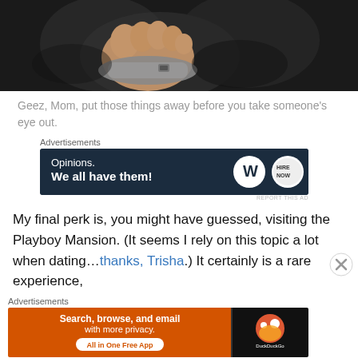[Figure (photo): Close-up photo of a person's feet/toes wearing flat shoes on a dark surface, viewed from above.]
Geez, Mom, put those things away before you take someone's eye out.
[Figure (screenshot): Advertisement banner: 'Opinions. We all have them!' with WordPress and HireNow logos on dark navy background.]
My final perk is, you might have guessed, visiting the Playboy Mansion. (It seems I rely on this topic a lot when dating…thanks, Trisha.) It certainly is a rare experience,
[Figure (screenshot): Advertisement banner for DuckDuckGo: 'Search, browse, and email with more privacy. All in One Free App' on orange background with DuckDuckGo logo on dark right side.]